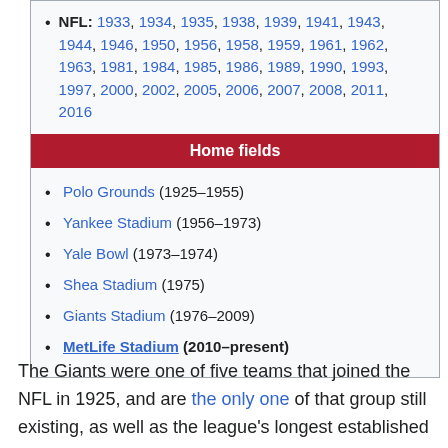NFL: 1933, 1934, 1935, 1938, 1939, 1941, 1943, 1944, 1946, 1950, 1956, 1958, 1959, 1961, 1962, 1963, 1981, 1984, 1985, 1986, 1989, 1990, 1993, 1997, 2000, 2002, 2005, 2006, 2007, 2008, 2011, 2016
Home fields
Polo Grounds (1925–1955)
Yankee Stadium (1956–1973)
Yale Bowl (1973–1974)
Shea Stadium (1975)
Giants Stadium (1976–2009)
MetLife Stadium (2010–present)
The Giants were one of five teams that joined the NFL in 1925, and are the only one of that group still existing, as well as the league's longest established team in the